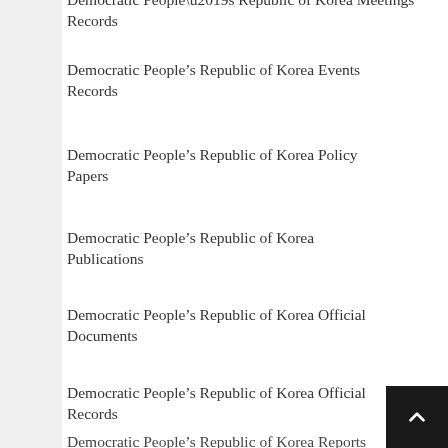Democratic People’s Republic of Korea Meetings Records
Democratic People’s Republic of Korea Events Records
Democratic People’s Republic of Korea Policy Papers
Democratic People’s Republic of Korea Publications
Democratic People’s Republic of Korea Official Documents
Democratic People’s Republic of Korea Official Records
Democratic People’s Republic of Korea Reports